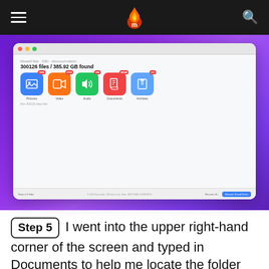Masterfil Mac recovery software
[Figure (screenshot): Screenshot of Masterfil Mac recovery software showing 300126 files / 385.92 GB found, with category icons for Pictures (7886), Video (2762), Audio (286), Documents (20040), Archives (211). Bottom bar shows Recover all / Recover Found Items buttons.]
Step 5  I went into the upper right-hand corner of the screen and typed in Documents to help me locate the folder instead of searching through everything. I like this feature as it makes finding the name of a file
Step 5